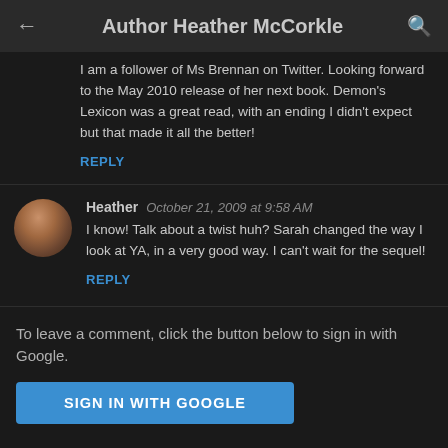Author Heather McCorkle
I am a follower of Ms Brennan on Twitter. Looking forward to the May 2010 release of her next book. Demon's Lexicon was a great read, with an ending I didn't expect but that made it all the better!
REPLY
Heather   October 21, 2009 at 9:58 AM
I know! Talk about a twist huh? Sarah changed the way I look at YA, in a very good way. I can't wait for the sequel!
REPLY
To leave a comment, click the button below to sign in with Google.
SIGN IN WITH GOOGLE